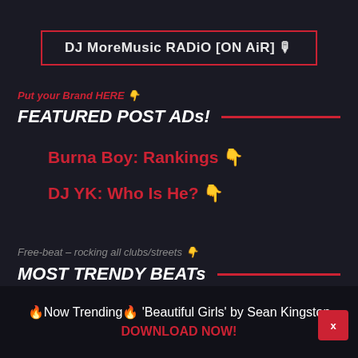DJ MoreMusic RADiO [ON AiR] 🎙
Put your Brand HERE 👇
FEATURED POST ADs!
Burna Boy: Rankings 👇
DJ YK: Who Is He? 👇
Free-beat – rocking all clubs/streets 👇
MOST TRENDY BEATs
Street DJ   Lagos Skate Beat
🔥Now Trending🔥 'Beautiful Girls' by Sean Kingston DOWNLOAD NOW!